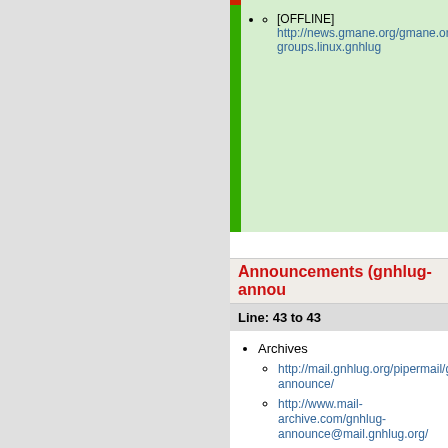[OFFLINE] http://news.gmane.org/gmane.org.user-groups.linux.gnhlug
Announcements (gnhlug-annou...
Line: 43 to 43
Archives
http://mail.gnhlug.org/pipermail/gnhl-announce/
http://www.mail-archive.com/gnhlug-announce@mail.gnhlug.org/
Changed:
http://dir.gmane.org/gmane.org.user-groups.linux.gnhlug.announce
[OFFLINE] http://dir.gmane.org/gmane.org.user-